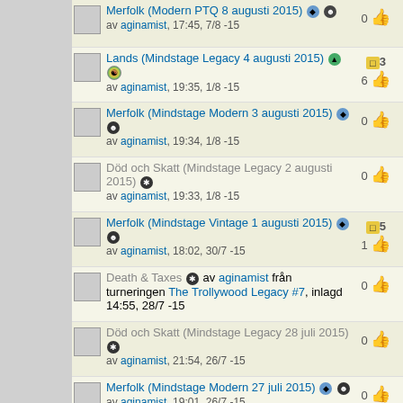Merfolk (Modern PTQ 8 augusti 2015) av aginamist, 17:45, 7/8 -15 | 0 thumbs
Lands (Mindstage Legacy 4 augusti 2015) av aginamist, 19:35, 1/8 -15 | 3 bookmark, 6 thumbs
Merfolk (Mindstage Modern 3 augusti 2015) av aginamist, 19:34, 1/8 -15 | 0 thumbs
Död och Skatt (Mindstage Legacy 2 augusti 2015) av aginamist, 19:33, 1/8 -15 | 0 thumbs
Merfolk (Mindstage Vintage 1 augusti 2015) av aginamist, 18:02, 30/7 -15 | 5 bookmark, 1 thumb
Death & Taxes av aginamist från turneringen The Trollywood Legacy #7, inlagd 14:55, 28/7 -15 | 0 thumbs
Död och Skatt (Mindstage Legacy 28 juli 2015) av aginamist, 21:54, 26/7 -15 | 0 thumbs
Merfolk (Mindstage Modern 27 juli 2015) av aginamist, 19:01, 26/7 -15 | 0 thumbs
The Deck with Wincons (93/94 Wexio 3 juli) av aginamist, 20:42, 29/6 -15 | 1 thumb
Secret Kor Level (Tribelander Wexio 3 juli) av aginamist, 20:40, 29/6 -15 | 0 thumbs
BELCHER Trollywood Juni av aginamist | thumbs